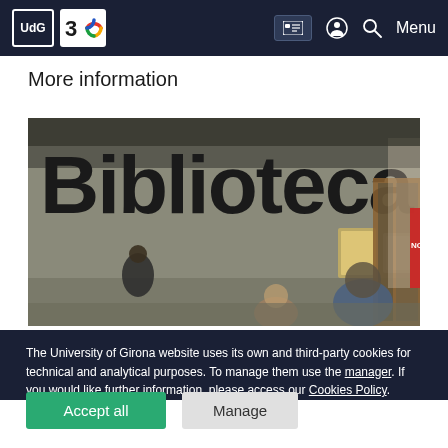UdG | 30 | Menu
More information
[Figure (photo): Entrance of a university library building with a large sign reading 'Biblioteca' in dark letters on a concrete facade. People are visible near the entrance doors.]
The University of Girona website uses its own and third-party cookies for technical and analytical purposes. To manage them use the manager. If you would like further information, please access our Cookies Policy.